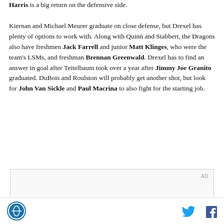Harris is a big return on the defensive side. Kiernan and Michael Meurer graduate on close defense, but Drexel has plenty of options to work with. Along with Quinn and Stabbert, the Dragons also have freshmen Jack Farrell and junior Matt Klinges, who were the team's LSMs, and freshman Brennan Greenwald. Drexel has to find an answer in goal after Teitelbaum took over a year after Jimmy Joe Granito graduated. DuBois and Roulston will probably get another shot, but look for John Van Sickle and Paul Macrina to also fight for the starting job.
[Figure (other): Advertisement box with AD label]
Logo, Twitter icon, Facebook icon